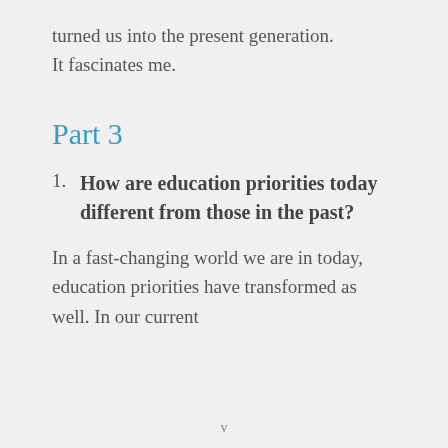turned us into the present generation. It fascinates me.
Part 3
How are education priorities today different from those in the past?
In a fast-changing world we are in today, education priorities have transformed as well. In our current
v